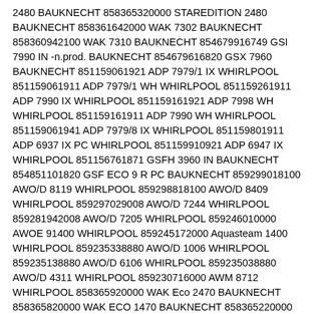2480 BAUKNECHT 858365320000 STAREDITION 2480 BAUKNECHT 858361642000 WAK 7302 BAUKNECHT 858360942100 WAK 7310 BAUKNECHT 854679916749 GSI 7990 IN -n.prod. BAUKNECHT 854679616820 GSX 7960 BAUKNECHT 851159061921 ADP 7979/1 IX WHIRLPOOL 851159061911 ADP 7979/1 WH WHIRLPOOL 851159261911 ADP 7990 IX WHIRLPOOL 851159161921 ADP 7998 WH WHIRLPOOL 851159161911 ADP 7990 WH WHIRLPOOL 851159061941 ADP 7979/8 IX WHIRLPOOL 851159801911 ADP 6937 IX PC WHIRLPOOL 851159910921 ADP 6947 IX WHIRLPOOL 851156761871 GSFH 3960 IN BAUKNECHT 854851101820 GSF ECO 9 R PC BAUKNECHT 859299018100 AWO/D 8119 WHIRLPOOL 859298818100 AWO/D 8409 WHIRLPOOL 859297029008 AWO/D 7244 WHIRLPOOL 859281942008 AWO/D 7205 WHIRLPOOL 859246010000 AWOE 91400 WHIRLPOOL 859245172000 Aquasteam 1400 WHIRLPOOL 859235338880 AWO/D 1006 WHIRLPOOL 859235138880 AWO/D 6106 WHIRLPOOL 859235038880 AWO/D 4311 WHIRLPOOL 859230716000 AWM 8712 WHIRLPOOL 858365920000 WAK Eco 2470 BAUKNECHT 858365820000 WAK ECO 1470 BAUKNECHT 858365220000 STAREDITION 2470 BAUKNECHT 858364620000 STAREDITION 2470 BAUKNECHT 858364620000 STAREDITION